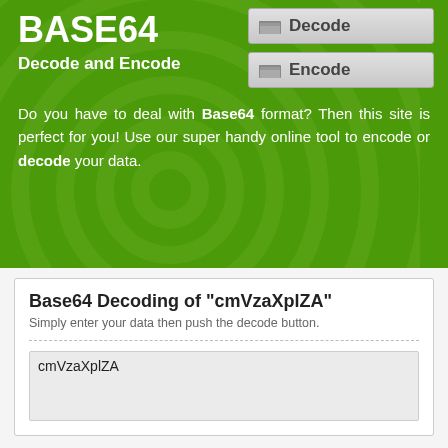BASE64
Decode and Encode
[Figure (screenshot): Decode navigation button with folder icon]
[Figure (screenshot): Encode navigation button with folder icon]
Do you have to deal with Base64 format? Then this site is perfect for you! Use our super handy online tool to encode or decode your data.
Base64 Decoding of "cmVzaXplZA"
Simply enter your data then push the decode button.
cmVzaXplZA